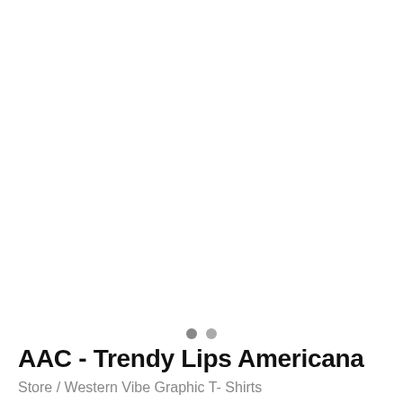[Figure (photo): Product image area for AAC - Trendy Lips Americana graphic t-shirt, shown as white/blank image placeholder with image carousel dots]
AAC - Trendy Lips Americana
Store  /  Western Vibe Graphic T- Shirts